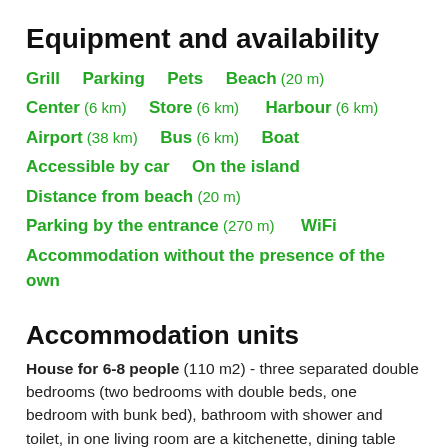Equipment and availability
Grill   Parking   Pets   Beach (20 m)
Center (6 km)   Store (6 km)   Harbour (6 km)
Airport (38 km)   Bus (6 km)   Boat
Accessible by car   On the island
Distance from beach (20 m)
Parking by the entrance (270 m)   WiFi
Accommodation without the presence of the own
Accommodation units
House for 6-8 people (110 m2) - three separated double bedrooms (two bedrooms with double beds, one bedroom with bunk bed), bathroom with shower and toilet, in one living room are a kitchenette, dining table and extra bed up to 2 persons, in the living room is entry to a large covered terrace